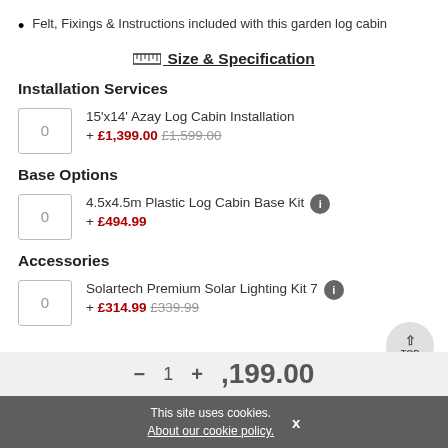Felt, Fixings & Instructions included with this garden log cabin
📏 Size & Specification
Installation Services
15'x14' Azay Log Cabin Installation + £1,399.00 £1,599.00
Base Options
4.5x4.5m Plastic Log Cabin Base Kit + £494.99
Accessories
Solartech Premium Solar Lighting Kit 7 + £314.99 £339.99
This site uses cookies. About our cookie policy. x